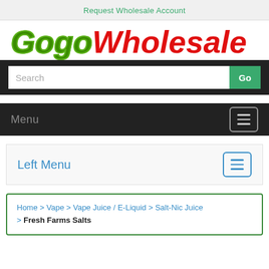Request Wholesale Account
[Figure (logo): GogoWholesale logo with 'Gogo' in green italic bold and 'Wholesale' in red italic bold]
Search
Menu
Left Menu
Home > Vape > Vape Juice / E-Liquid > Salt-Nic Juice > Fresh Farms Salts